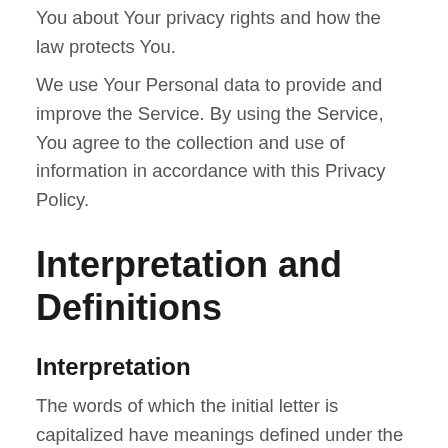You about Your privacy rights and how the law protects You.
We use Your Personal data to provide and improve the Service. By using the Service, You agree to the collection and use of information in accordance with this Privacy Policy.
Interpretation and Definitions
Interpretation
The words of which the initial letter is capitalized have meanings defined under the following conditions. The following definitions shall have the same meaning regardless of whether they appear in singular or in plural.